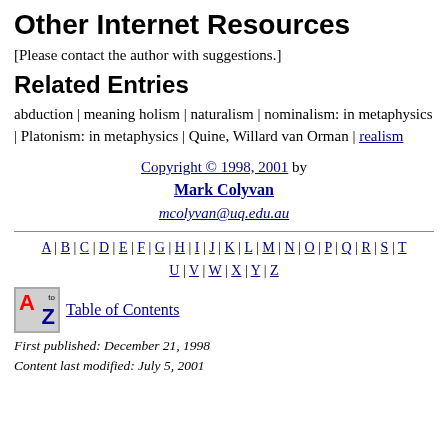Other Internet Resources
[Please contact the author with suggestions.]
Related Entries
abduction | meaning holism | naturalism | nominalism: in metaphysics | Platonism: in metaphysics | Quine, Willard van Orman | realism
Copyright © 1998, 2001 by Mark Colyvan
mcolyvan@uq.edu.au
A | B | C | D | E | F | G | H | I | J | K | L | M | N | O | P | Q | R | S | T | U | V | W | X | Y | Z
[Figure (other): A to Z table of contents icon]
Table of Contents
First published: December 21, 1998
Content last modified: July 5, 2001